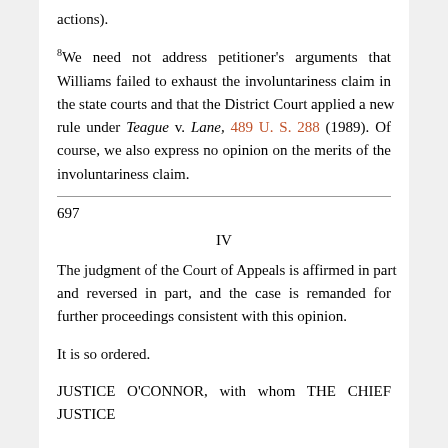actions).
8We need not address petitioner's arguments that Williams failed to exhaust the involuntariness claim in the state courts and that the District Court applied a new rule under Teague v. Lane, 489 U. S. 288 (1989). Of course, we also express no opinion on the merits of the involuntariness claim.
697
IV
The judgment of the Court of Appeals is affirmed in part and reversed in part, and the case is remanded for further proceedings consistent with this opinion.
It is so ordered.
JUSTICE O'CONNOR, with whom THE CHIEF JUSTICE